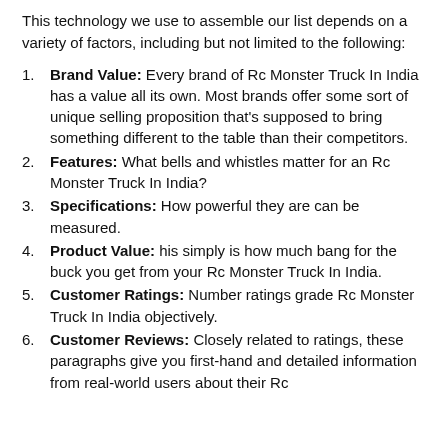This technology we use to assemble our list depends on a variety of factors, including but not limited to the following:
Brand Value: Every brand of Rc Monster Truck In India has a value all its own. Most brands offer some sort of unique selling proposition that's supposed to bring something different to the table than their competitors.
Features: What bells and whistles matter for an Rc Monster Truck In India?
Specifications: How powerful they are can be measured.
Product Value: his simply is how much bang for the buck you get from your Rc Monster Truck In India.
Customer Ratings: Number ratings grade Rc Monster Truck In India objectively.
Customer Reviews: Closely related to ratings, these paragraphs give you first-hand and detailed information from real-world users about their Rc